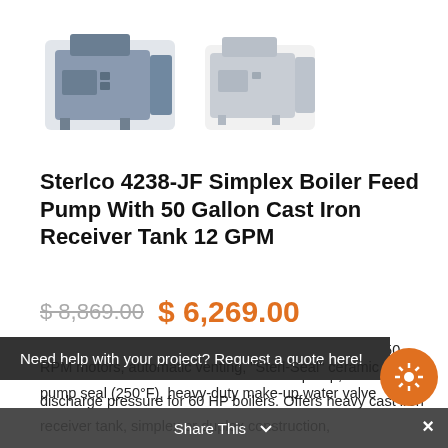[Figure (photo): Two product photos of the Sterlco 4238-JF Simplex Boiler Feed Pump unit — one in grey-blue color and one in light grey]
Sterlco 4238-JF Simplex Boiler Feed Pump With 50 Gallon Cast Iron Receiver Tank 12 GPM
$ 8,869.00  $ 6,269.00
The Sterlco 4238-JF Simplex Boiler Feed Pump With 50 Gallon Cast Iron Receiver Tank 12 GPM pump, 30 PSI discharge pressure for 60 HP boilers. Offers heavy cast iron receiver tank, simplex or duplex construction,
Need help with your project? Request a quote here!
RPM motors, automatic venting, "Sterl-Seal" ceramic pump seal (250°F), heavy-duty make-up water valve
Share This